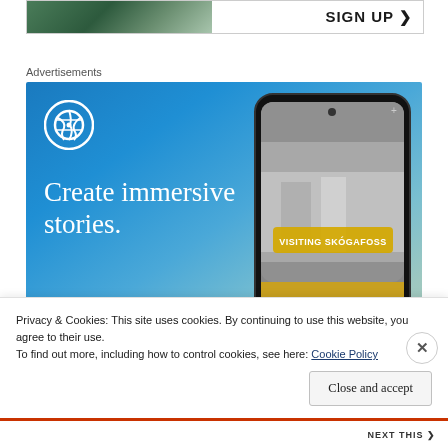[Figure (screenshot): Top banner advertisement with image on left and SIGN UP text with arrow on right]
Advertisements
[Figure (screenshot): WordPress advertisement with blue gradient background, WordPress logo, 'Create immersive stories.' tagline, and phone mockup showing 'VISITING SKÓGAFOSS']
Privacy & Cookies: This site uses cookies. By continuing to use this website, you agree to their use.
To find out more, including how to control cookies, see here: Cookie Policy
Close and accept